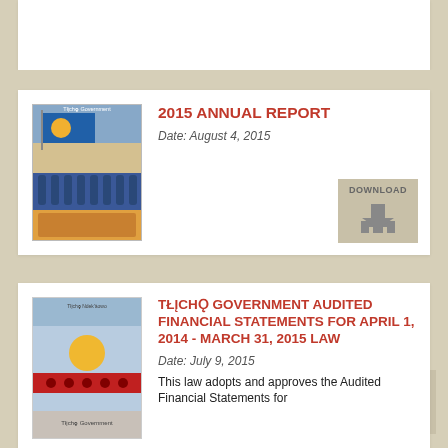[Figure (screenshot): Partial top card showing only download button]
[Figure (illustration): 2015 Annual Report cover with Tłįchǫ Government flag and group photos]
2015 ANNUAL REPORT
Date: August 4, 2015
[Figure (illustration): Tłįchǫ Government audited financial statements cover with flag/emblem design]
TŁĮCHǪ GOVERNMENT AUDITED FINANCIAL STATEMENTS FOR APRIL 1, 2014 - MARCH 31, 2015 LAW
Date: July 9, 2015
This law adopts and approves the Audited Financial Statements for